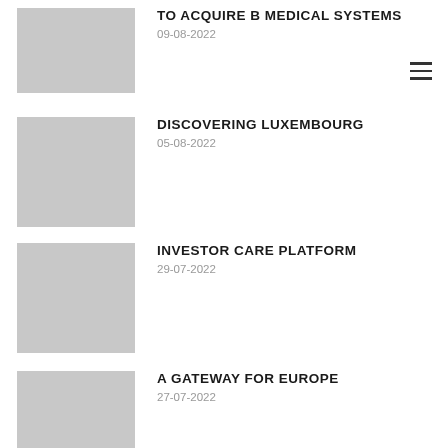[Figure (photo): Grey placeholder thumbnail image for first news item]
TO ACQUIRE B MEDICAL SYSTEMS
09-08-2022
[Figure (photo): Grey placeholder thumbnail image for second news item]
DISCOVERING LUXEMBOURG
05-08-2022
[Figure (photo): Grey placeholder thumbnail image for third news item]
INVESTOR CARE PLATFORM
29-07-2022
[Figure (photo): Grey placeholder thumbnail image for fourth news item]
A GATEWAY FOR EUROPE
27-07-2022